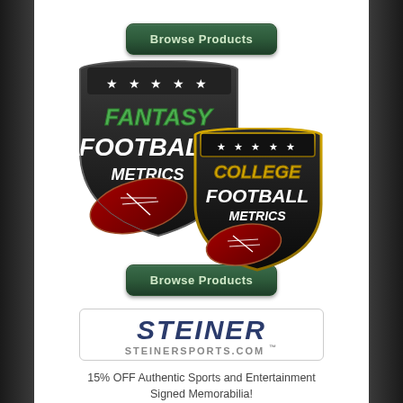[Figure (logo): Browse Products button (top) - dark green rounded rectangle button]
[Figure (logo): Fantasy Football Metrics and College Football Metrics shield logos overlapping]
[Figure (logo): Browse Products button (bottom) - dark green rounded rectangle button]
[Figure (logo): Steiner Sports logo - STEINER in bold dark blue italic text, STEINERSPORTS.COM in grey below]
15% OFF Authentic Sports and Entertainment Signed Memorabilia!